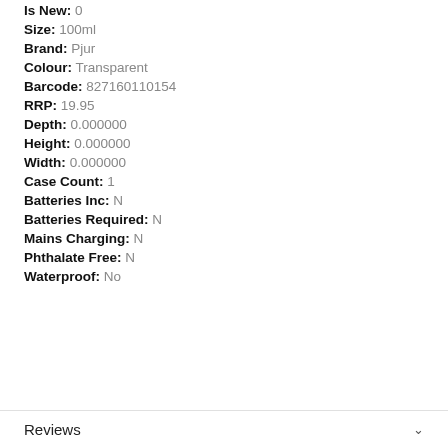Is New:  0
Size:  100ml
Brand:  Pjur
Colour:  Transparent
Barcode:  827160110154
RRP:  19.95
Depth:  0.000000
Height:  0.000000
Width:  0.000000
Case Count:  1
Batteries Inc:  N
Batteries Required:  N
Mains Charging:  N
Phthalate Free:  N
Waterproof:  No
Reviews